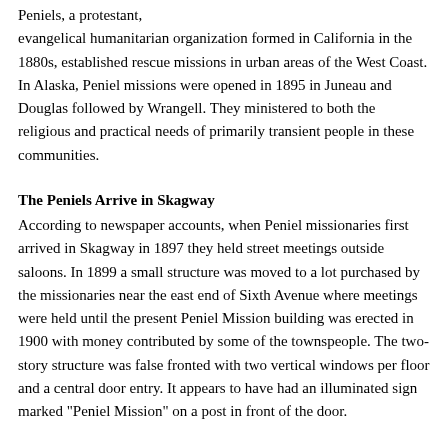Peniels, a protestant, evangelical humanitarian organization formed in California in the 1880s, established rescue missions in urban areas of the West Coast. In Alaska, Peniel missions were opened in 1895 in Juneau and Douglas followed by Wrangell. They ministered to both the religious and practical needs of primarily transient people in these communities.
The Peniels Arrive in Skagway
According to newspaper accounts, when Peniel missionaries first arrived in Skagway in 1897 they held street meetings outside saloons. In 1899 a small structure was moved to a lot purchased by the missionaries near the east end of Sixth Avenue where meetings were held until the present Peniel Mission building was erected in 1900 with money contributed by some of the townspeople. The two-story structure was false fronted with two vertical windows per floor and a central door entry. It appears to have had an illuminated sign marked "Peniel Mission" on a post in front of the door.